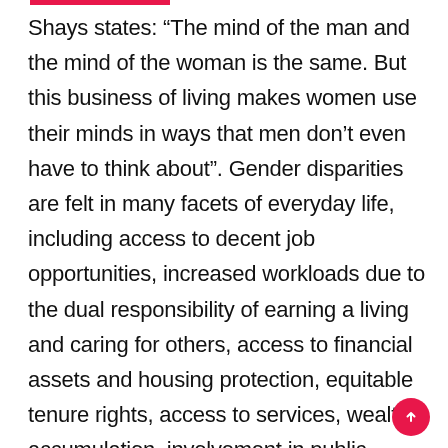Shays states: “The mind of the man and the mind of the woman is the same. But this business of living makes women use their minds in ways that men don’t even have to think about”. Gender disparities are felt in many facets of everyday life, including access to decent job opportunities, increased workloads due to the dual responsibility of earning a living and caring for others, access to financial assets and housing protection, equitable tenure rights, access to services, wealth accumulation, involvement in public government processes, and personal security, the latter due in part to inadequate infrastructure. (Chant & McIlwaine, 2016).